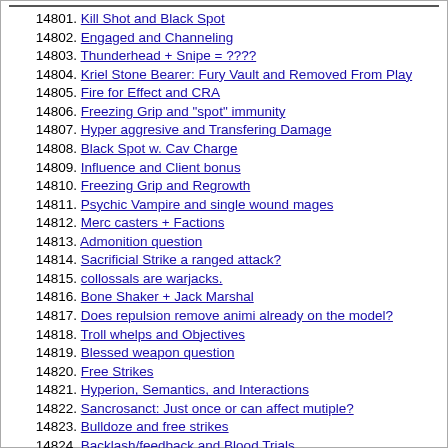14801. Kill Shot and Black Spot
14802. Engaged and Channeling
14803. Thunderhead + Snipe = ????
14804. Kriel Stone Bearer: Fury Vault and Removed From Play
14805. Fire for Effect and CRA
14806. Freezing Grip and "spot" immunity
14807. Hyper aggresive and Transfering Damage
14808. Black Spot w. Cav Charge
14809. Influence and Client bonus
14810. Freezing Grip and Regrowth
14811. Psychic Vampire and single wound mages
14812. Merc casters + Factions
14813. Admonition question
14814. Sacrificial Strike a ranged attack?
14815. collossals are warjacks.
14816. Bone Shaker + Jack Marshal
14817. Does repulsion remove animi already on the model?
14818. Troll whelps and Objectives
14819. Blessed weapon question
14820. Free Strikes
14821. Hyperion, Semantics, and Interactions
14822. Sancrosanct: Just once or can affect mutiple?
14823. Bulldoze and free strikes
14824. Backlash/feedback and Blood Trials
14825. Summer Rampage Scenario Question
14826. question about storm pod placement timing
14827. Bulldoze
14828. point blank and bloody barnabus swamp pits
14829. Jack Marshall vs. Machine Wraith